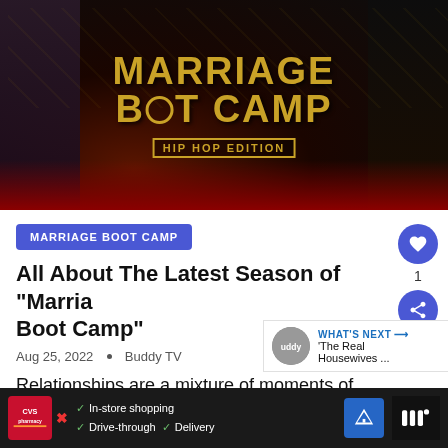[Figure (photo): Promotional image for Marriage Boot Camp: Hip Hop Edition showing cast members posed against a dark background with gold text logo and 'HIP HOP EDITION' banner]
MARRIAGE BOOT CAMP
All About The Latest Season of “Marriage Boot Camp”
Aug 25, 2022 • Buddy TV
Relationships are a mixture of moments of bli...
[Figure (infographic): Advertisement bar: CVS Pharmacy ad showing In-store shopping, Drive-through, Delivery options with navigation icon]